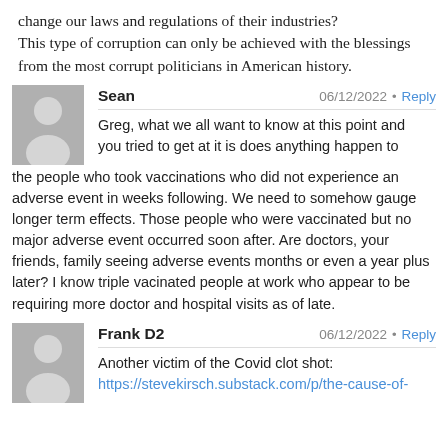change our laws and regulations of their industries? This type of corruption can only be achieved with the blessings from the most corrupt politicians in American history.
Sean  06/12/2022 • Reply
Greg, what we all want to know at this point and you tried to get at it is does anything happen to the people who took vaccinations who did not experience an adverse event in weeks following. We need to somehow gauge longer term effects. Those people who were vaccinated but no major adverse event occurred soon after. Are doctors, your friends, family seeing adverse events months or even a year plus later? I know triple vacinated people at work who appear to be requiring more doctor and hospital visits as of late.
Frank D2  06/12/2022 • Reply
Another victim of the Covid clot shot:
https://stevekirsch.substack.com/p/the-cause-of-